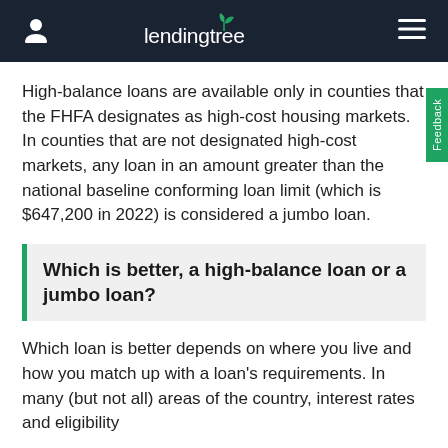LendingTree
High-balance loans are available only in counties that the FHFA designates as high-cost housing markets. In counties that are not designated high-cost markets, any loan in an amount greater than the national baseline conforming loan limit (which is $647,200 in 2022) is considered a jumbo loan.
Which is better, a high-balance loan or a jumbo loan?
Which loan is better depends on where you live and how you match up with a loan's requirements. In many (but not all) areas of the country, interest rates and eligibility requirements between high-balance loans and the...